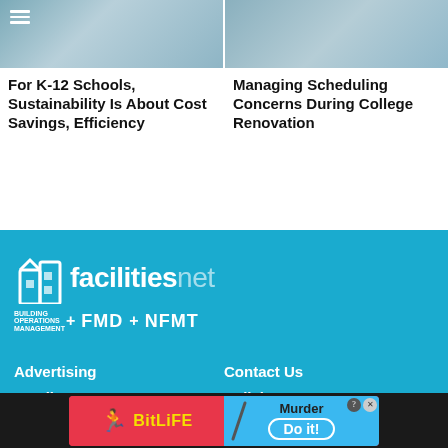[Figure (screenshot): Article thumbnail image for K-12 schools sustainability article, with hamburger menu icon]
For K-12 Schools, Sustainability Is About Cost Savings, Efficiency
[Figure (screenshot): Article thumbnail image for college renovation scheduling article]
Managing Scheduling Concerns During College Renovation
[Figure (logo): FacilitiesNet logo with building icon, white text on blue background, with sub-brands: building operations management + FMD + NFMT]
Advertising
Email Management
Article Directory
Contact Us
Policies
Site Map
[Figure (screenshot): BitLife advertisement banner: red left side with sperm icon and BitLife text in yellow, blue right side with Murder / Do it! call to action]